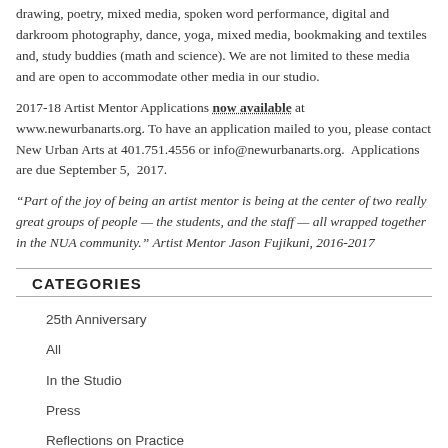drawing, poetry, mixed media, spoken word performance, digital and darkroom photography, dance, yoga, mixed media, bookmaking and textiles and, study buddies (math and science). We are not limited to these media and are open to accommodate other media in our studio.
2017-18 Artist Mentor Applications now available at www.newurbanarts.org. To have an application mailed to you, please contact New Urban Arts at 401.751.4556 or info@newurbanarts.org.  Applications are due September 5,  2017.
“Part of the joy of being an artist mentor is being at the center of two really great groups of people — the students, and the staff — all wrapped together in the NUA community.” Artist Mentor Jason Fujikuni, 2016-2017
CATEGORIES
25th Anniversary
All
In the Studio
Press
Reflections on Practice